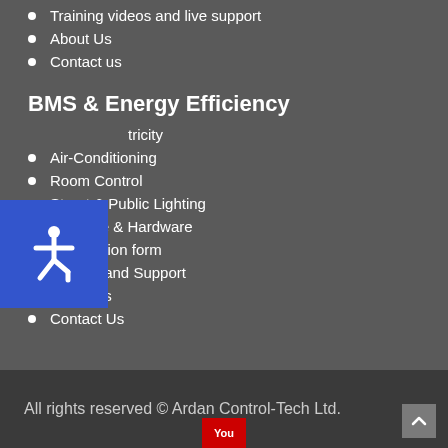Training videos and live support
About Us
Contact us
BMS & Energy Efficiency
tricity
Air-Conditioning
Room Control
Street & Public Lighting
Software & Hardware
Satisfaction form
Service and Support
About Us
Contact Us
All rights reserved © Ardan Control-Tech Ltd.